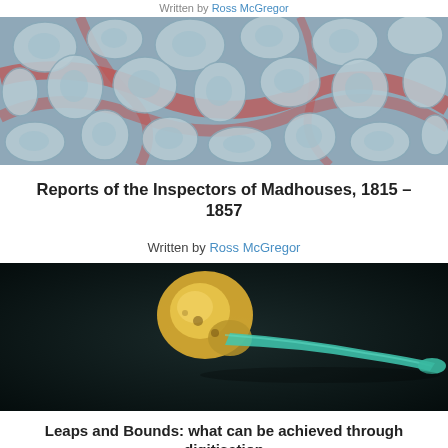Written by Ross McGregor
[Figure (photo): Microscopy image showing cell-like structures in blue-grey tones with reddish connective tissue between them]
Reports of the Inspectors of Madhouses, 1815 – 1857
Written by Ross McGregor
[Figure (photo): 3D rendered bone specimen on dark background, gold/teal coloring, appears to be a small bone fragment]
Leaps and Bounds: what can be achieved through digitisation